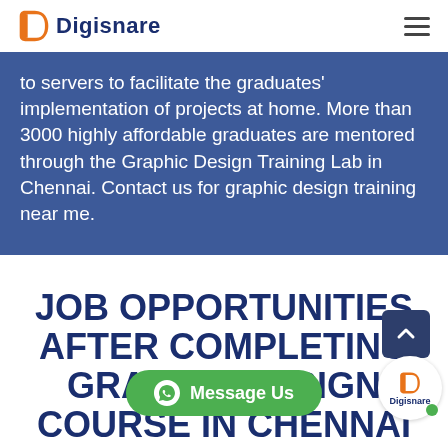Digisnare
to servers to facilitate the graduates' implementation of projects at home. More than 3000 highly affordable graduates are mentored through the Graphic Design Training Lab in Chennai. Contact us for graphic design training near me.
JOB OPPORTUNITIES AFTER COMPLETING GRAPHIC DESIGN COURSE IN CHENNAI